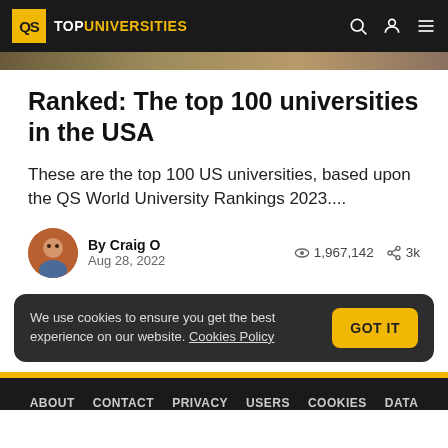QS TOPUNIVERSITIES
Ranked: The top 100 universities in the USA
These are the top 100 US universities, based upon the QS World University Rankings 2023....
By Craig O
Aug 28, 2022    1,967,142   3k
We use cookies to ensure you get the best experience on our website. Cookies Policy
ABOUT   CONTACT   PRIVACY   USERS   COOKIES   DATA